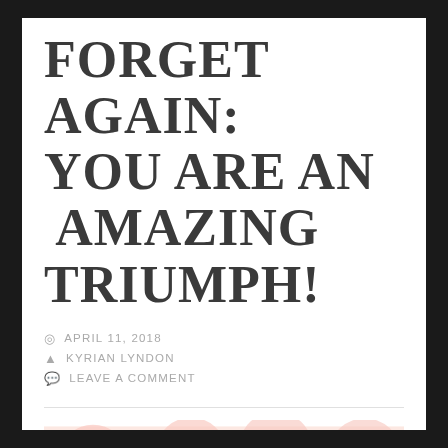FORGET AGAIN: YOU ARE AN AMAZING TRIUMPH!
APRIL 11, 2018
KYRIAN LYNDON
LEAVE A COMMENT
[Figure (photo): A row of pink peony flowers with orange centers on a light background.]